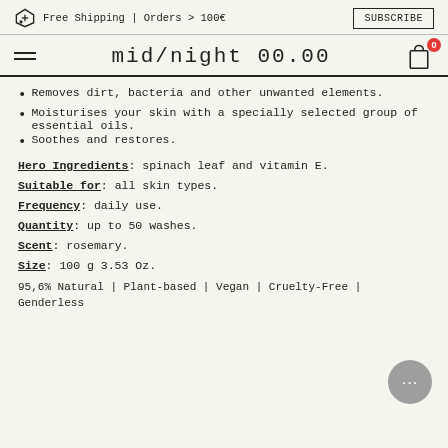Free Shipping | Orders > 100€  SUBSCRIBE
mid/night 00.00
Removes dirt, bacteria and other unwanted elements.
Moisturises your skin with a specially selected group of essential oils.
Soothes and restores.
Hero Ingredients: spinach leaf and vitamin E.
Suitable for: all skin types.
Frequency: daily use.
Quantity: up to 50 washes.
Scent: rosemary.
Size: 100 g 3.53 Oz.
95,6% Natural | Plant-based | Vegan | Cruelty-Free | Genderless